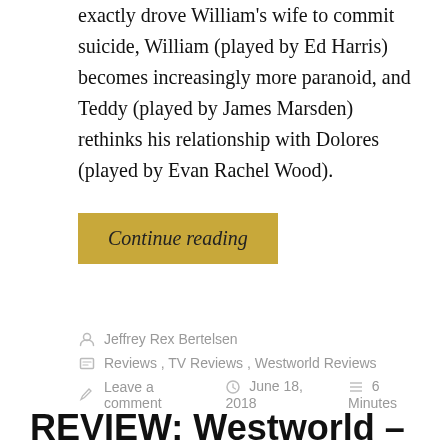exactly drove William's wife to commit suicide, William (played by Ed Harris) becomes increasingly more paranoid, and Teddy (played by James Marsden) rethinks his relationship with Dolores (played by Evan Rachel Wood).
Continue reading
Jeffrey Rex Bertelsen
Reviews, TV Reviews, Westworld Reviews
Leave a comment   June 18, 2018   6 Minutes
REVIEW: Westworld –